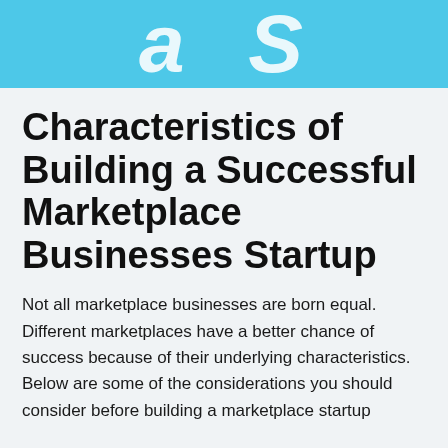[Figure (illustration): Light blue banner with large white bold italic decorative text partially visible]
Characteristics of Building a Successful Marketplace Businesses Startup
Not all marketplace businesses are born equal. Different marketplaces have a better chance of success because of their underlying characteristics. Below are some of the considerations you should consider before building a marketplace startup